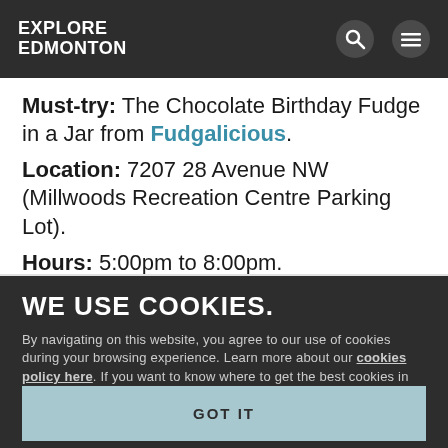EXPLORE EDMONTON
Must-try: The Chocolate Birthday Fudge in a Jar from Fudgalicious. Location: 7207 28 Avenue NW (Millwoods Recreation Centre Parking Lot). Hours: 5:00pm to 8:00pm.
WE USE COOKIES.
By navigating on this website, you agree to our use of cookies during your browsing experience. Learn more about our cookies policy here. If you want to know where to get the best cookies in Edmonton click here.
GOT IT